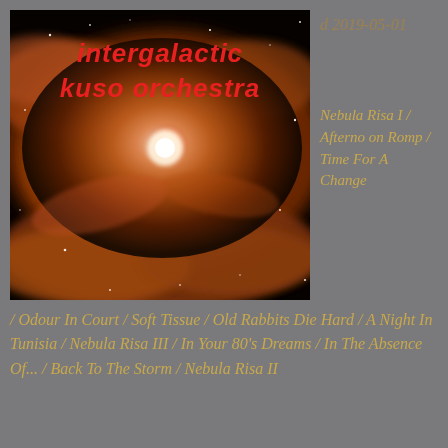[Figure (photo): Album cover image showing a glowing nebula with orange and gold fiery clouds against a black starfield, with a bright central orb. Text overlay reads 'intergalactic kuso orchestra' in red stylized font.]
d 2019-05-01
Nebula Risa I / Afternoon Romp / Time For A Change / Odour In Court / Soft Tissue / Old Rabbits Die Hard / A Night In Tunisia / Nebula Risa III / In Your 80's Dreams / In The Absence Of... / Back To The Storm / Nebula Risa II